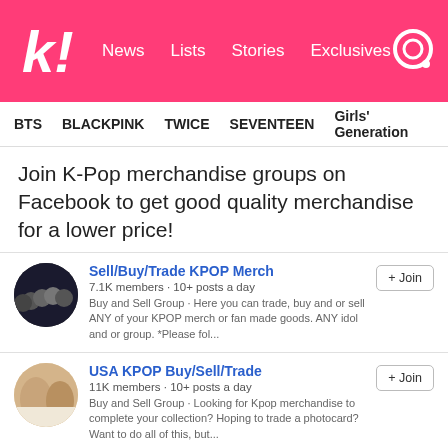kl News Lists Stories Exclusives
BTS BLACKPINK TWICE SEVENTEEN Girls' Generation
Join K-Pop merchandise groups on Facebook to get good quality merchandise for a lower price!
Sell/Buy/Trade KPOP Merch
7.1K members · 10+ posts a day
Buy and Sell Group · Here you can trade, buy and or sell ANY of your KPOP merch or fan made goods. ANY idol and or group. *Please fol...
USA KPOP Buy/Sell/Trade
11K members · 10+ posts a day
Buy and Sell Group · Looking for Kpop merchandise to complete your collection? Hoping to trade a photocard? Want to do all of this, but...
Kpop polaroid only sell and buy
3.4K members · 10+ posts a day
only about kpop polaroid(only real)
🏠 3 members said they live in Edmonton, Alberta